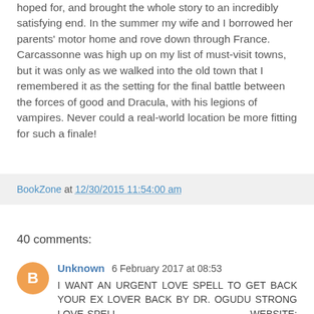hoped for, and brought the whole story to an incredibly satisfying end. In the summer my wife and I borrowed her parents' motor home and rove down through France. Carcassonne was high up on my list of must-visit towns, but it was only as we walked into the old town that I remembered it as the setting for the final battle between the forces of good and Dracula, with his legions of vampires. Never could a real-world location be more fitting for such a finale!
BookZone at 12/30/2015 11:54:00 am
40 comments:
Unknown 6 February 2017 at 08:53
I WANT AN URGENT LOVE SPELL TO GET BACK YOUR EX LOVER BACK BY DR. OGUDU STRONG LOVE SPELL WEBSITE: http://oguduspelltemple.wixsite.com/drogudu